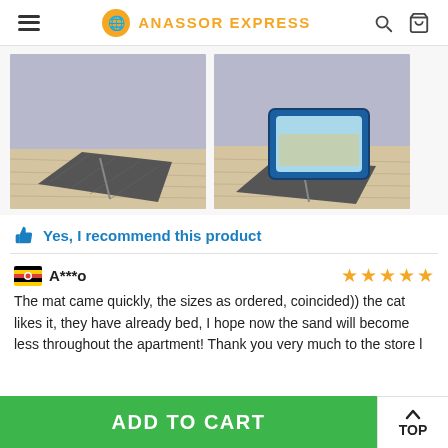ANASSOR EXPRESS
[Figure (photo): Two photos of a grey cat litter mat. Left photo shows the mat alone in a corner with purple walls and wood floor. Right photo shows the same mat with a blue litter box on top of it.]
Yes, I recommend this product
A***o
The mat came quickly, the sizes as ordered, coincided)) the cat likes it, they have already bed, I hope now the sand will become less throughout the apartment! Thank you very much to the store l